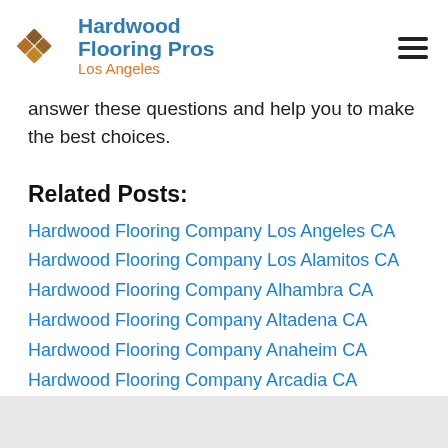Hardwood Flooring Pros Los Angeles
answer these questions and help you to make the best choices.
Related Posts:
Hardwood Flooring Company Los Angeles CA
Hardwood Flooring Company Los Alamitos CA
Hardwood Flooring Company Alhambra CA
Hardwood Flooring Company Altadena CA
Hardwood Flooring Company Anaheim CA
Hardwood Flooring Company Arcadia CA